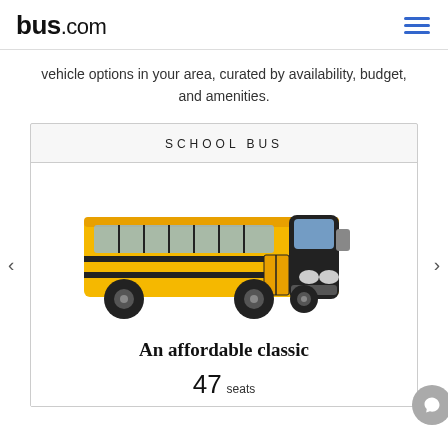bus.com
vehicle options in your area, curated by availability, budget, and amenities.
SCHOOL BUS
[Figure (photo): Yellow school bus photographed from a front-side angle on a white background]
An affordable classic
47 seats